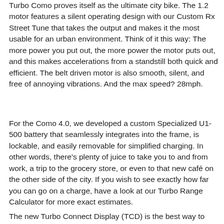Turbo Como proves itself as the ultimate city bike. The 1.2 motor features a silent operating design with our Custom Rx Street Tune that takes the output and makes it the most usable for an urban environment. Think of it this way: The more power you put out, the more power the motor puts out, and this makes accelerations from a standstill both quick and efficient. The belt driven motor is also smooth, silent, and free of annoying vibrations. And the max speed? 28mph.
For the Como 4.0, we developed a custom Specialized U1-500 battery that seamlessly integrates into the frame, is lockable, and easily removable for simplified charging. In other words, there's plenty of juice to take you to and from work, a trip to the grocery store, or even to that new café on the other side of the city. If you wish to see exactly how far you can go on a charge, have a look at our Turbo Range Calculator for more exact estimates.
The new Turbo Connect Display (TCD) is the best way to